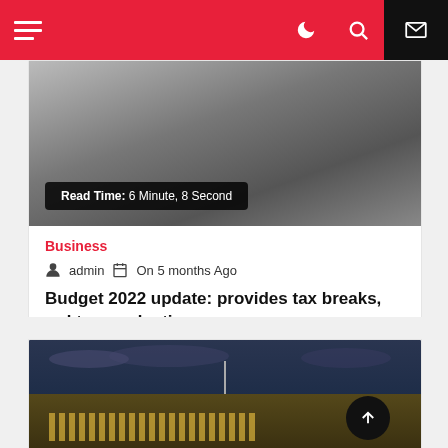Navigation header with hamburger menu, moon icon, search icon, and mail icon
[Figure (photo): Grayscale article header image with a dark overlay badge showing Read Time: 6 Minute, 8 Second]
Business
admin  On 5 months Ago
Budget 2022 update: provides tax breaks, red tape reduction
[Figure (photo): Night photograph of Australian Parliament House in Canberra, illuminated with yellow and blue lights against a dark cloudy sky]